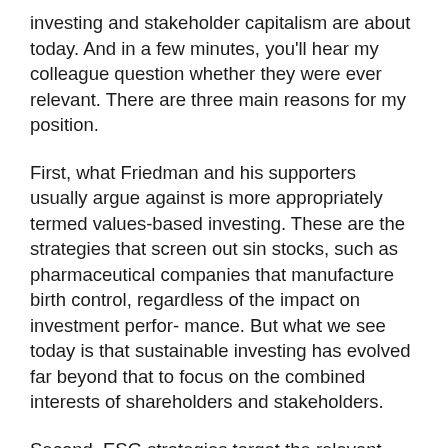investing and stakeholder capitalism are about today. And in a few minutes, you'll hear my colleague question whether they were ever relevant. There are three main reasons for my position.
First, what Friedman and his supporters usually argue against is more appropriately termed values-based investing. These are the strategies that screen out sin stocks, such as pharmaceutical companies that manufacture birth control, regardless of the impact on investment perfor- mance. But what we see today is that sustainable investing has evolved far beyond that to focus on the combined interests of shareholders and stakeholders.
Second, ESG strategies target the relevant risks and opportunities that aren't discernible from earnings